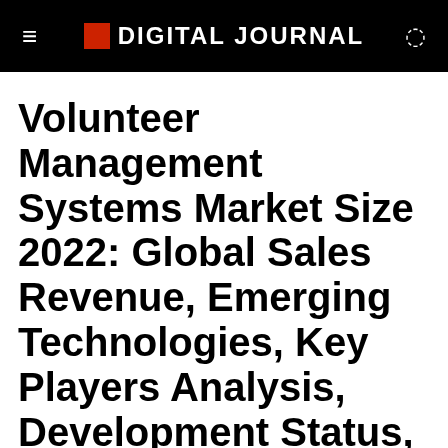DIGITAL JOURNAL
Volunteer Management Systems Market Size 2022: Global Sales Revenue, Emerging Technologies, Key Players Analysis, Development Status, Opportunity Assessment and Industry Expansion Strategies